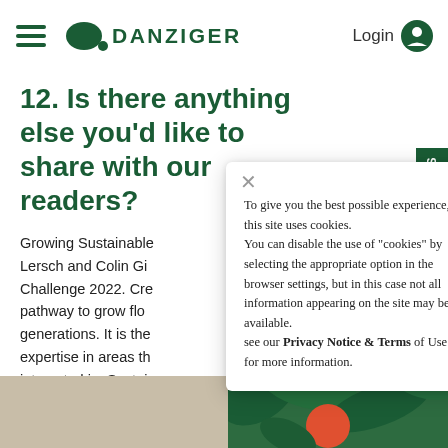DANZIGER | Login
12. Is there anything else you'd like to share with our readers?
Growing Sustainable... Lersch and Colin Gi... Challenge 2022. Cre... pathway to grow flo... generations. It is the... expertise in areas th... interested in. Sustai... top of the list today.
To give you the best possible experience, this site uses cookies.
You can disable the use of "cookies" by selecting the appropriate option in the browser settings, but in this case not all information appearing on the site may be available.
see our Privacy Notice & Terms of Use for more information.
[Figure (photo): Bottom strip showing a beige/tan background on the left and tropical green foliage on the right]